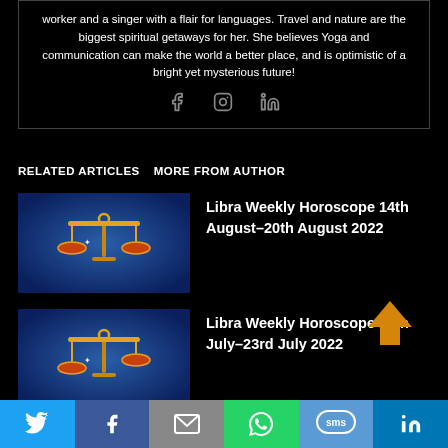worker and a singer with a flair for languages. Travel and nature are the biggest spiritual getaways for her. She believes Yoga and communication can make the world a better place, and is optimistic of a bright yet mysterious future!
[Figure (illustration): Social media icons: Facebook (f), Instagram (camera), LinkedIn (in) in grey]
RELATED ARTICLES   MORE FROM AUTHOR
[Figure (photo): Libra zodiac symbol on blue background - article thumbnail]
Libra Weekly Horoscope 14th August–20th August 2022
[Figure (photo): Libra zodiac symbol on blue background - article thumbnail]
Libra Weekly Horoscope 17th July–23rd July 2022
[Figure (illustration): Orange upward arrow button for scroll to top]
[Figure (illustration): Bottom share bar with Twitter, Facebook, Email, WhatsApp, SMS, LinkedIn icons]